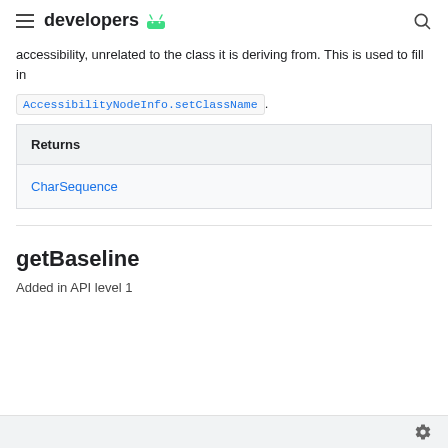developers
accessibility, unrelated to the class it is deriving from. This is used to fill in AccessibilityNodeInfo.setClassName.
| Returns |
| --- |
| CharSequence |
getBaseline
Added in API level 1